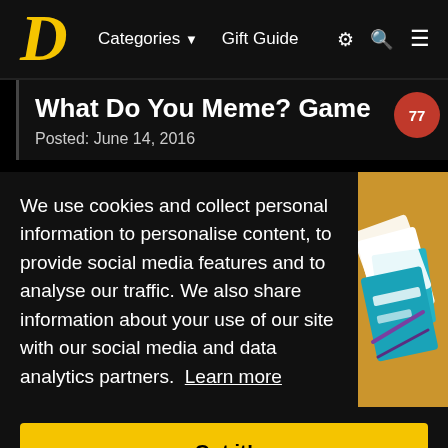D  Categories ▼  Gift Guide
What Do You Meme? Game
Posted: June 14, 2016
We use cookies and collect personal information to personalise content, to provide social media features and to analyse our traffic. We also share information about your use of our site with our social media and data analytics partners. Learn more
Got it!